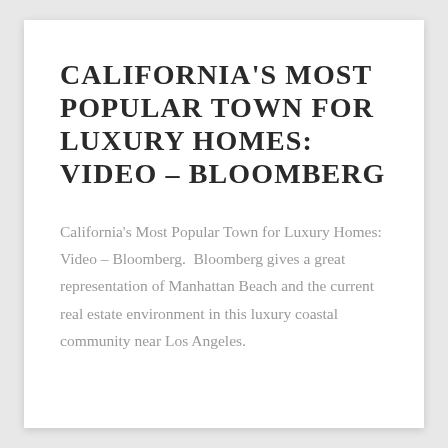CALIFORNIA'S MOST POPULAR TOWN FOR LUXURY HOMES: VIDEO – BLOOMBERG
California's Most Popular Town for Luxury Homes: Video – Bloomberg.  Bloomberg gives a great representation of Manhattan Beach and the current real estate environment in this luxury coastal community near Los Angeles.